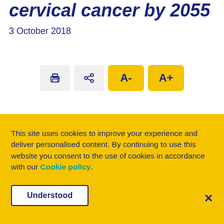cervical cancer by 2055
3 October 2018
[Figure (other): Toolbar with print icon, share icon, A- button, and A+ button]
This site uses cookies to improve your experience and deliver personalised content. By continuing to use this website you consent to the use of cookies in accordance with our Cookie policy.
Understood
×